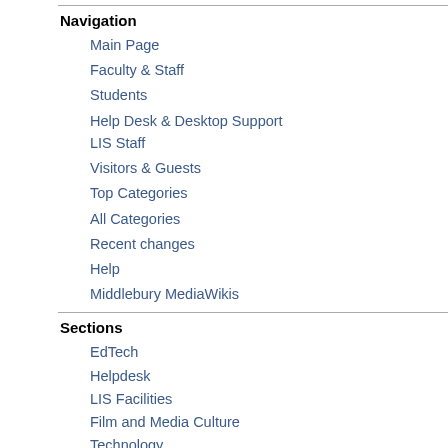Navigation
Main Page
Faculty & Staff
Students
Help Desk & Desktop Support
LIS Staff
Visitors & Guests
Top Categories
All Categories
Recent changes
Help
Middlebury MediaWikis
Sections
EdTech
Helpdesk
LIS Facilities
Film and Media Culture
Technology
Revision as of 15:59, 13 ... source
Jessica Isler (talk ...
(→Resources (Faculty, ...
← Older e...
Line 34:
In addition to this p
instructions within M
help documentation ma
<br>
[http://docs.moodle.o
Moodle Docs]<br>
[http://moodle.middle
iew.php?id=4 Middlebr
Resources]
[http://blogs.middleb